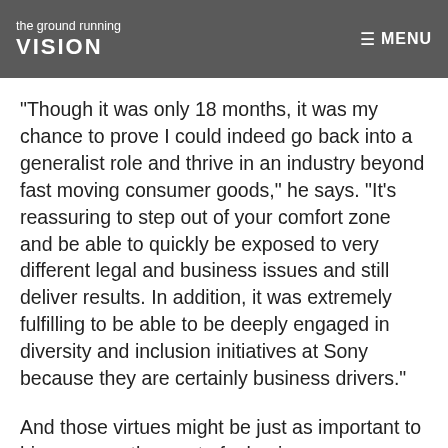the ground running
VISION
☰ MENU
“Though it was only 18 months, it was my chance to prove I could indeed go back into a generalist role and thrive in an industry beyond fast moving consumer goods,” he says. “It’s reassuring to step out of your comfort zone and be able to quickly be exposed to very different legal and business issues and still deliver results. In addition, it was extremely fulfilling to be able to be deeply engaged in diversity and inclusion initiatives at Sony because they are certainly business drivers.”
And those virtues might be just as important to him as any other part of a business.